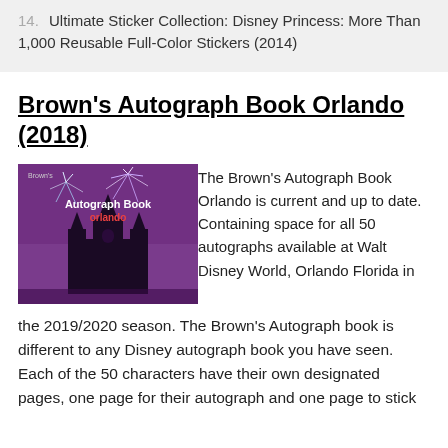14. Ultimate Sticker Collection: Disney Princess: More Than 1,000 Reusable Full-Color Stickers (2014)
Brown's Autograph Book Orlando (2018)
[Figure (photo): Book cover of Brown's Autograph Book Orlando, featuring a purple background with a castle silhouette and fireworks, with the title 'Autograph Book Orlando' in white and red text.]
The Brown's Autograph Book Orlando is current and up to date. Containing space for all 50 autographs available at Walt Disney World, Orlando Florida in the 2019/2020 season. The Brown's Autograph book is different to any Disney autograph book you have seen. Each of the 50 characters have their own designated pages, one page for their autograph and one page to stick